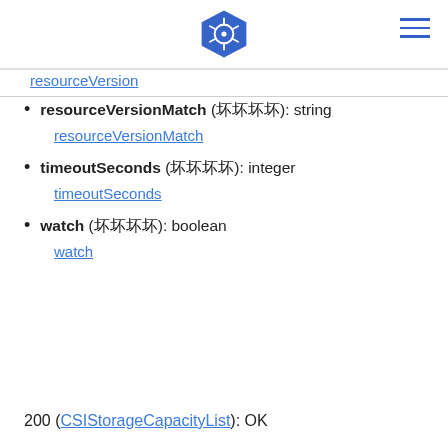Kubernetes logo header
resourceVersion
resourceVersionMatch (坏坏坏坏): string
resourceVersionMatch
timeoutSeconds (坏坏坏坏): integer
timeoutSeconds
watch (坏坏坏坏): boolean
watch
200 (CSIStorageCapacityList): OK